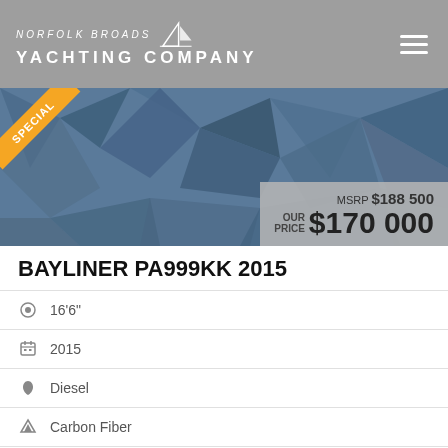Norfolk Broads Yachting Company
[Figure (photo): Boat listing banner image with polygonal dark blue geometric background, special ribbon badge in gold/orange, and price box showing MSRP $188 500 and OUR PRICE $170 000]
BAYLINER PA999KK 2015
16'6"
2015
Diesel
Carbon Fiber
Long Beach, CA, United States